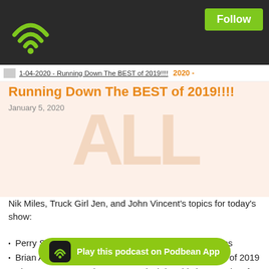[Figure (logo): Podbean podcast app wifi/signal icon in green on dark background header bar]
Running Down The BEST of 2019!!!!
January 5, 2020
[Figure (illustration): Faded watermark letters background image for podcast episode]
Nik Miles, Truck Girl Jen, and John Vincent's topics for today's show:
Perry Stern runs down his top picks for Luxury Sedans
Brian Armstead checks off his top Electronic Vehicles of 2019
The Fast Lane Truck's Roman Micah has his best trucks of the year
John Vincent has your best choices at SUV
New fees you should be aware of that may soon be coming to your area when it comes to registrations
Nik d… studio, but wh… everything
Play this podcast on Podbean App